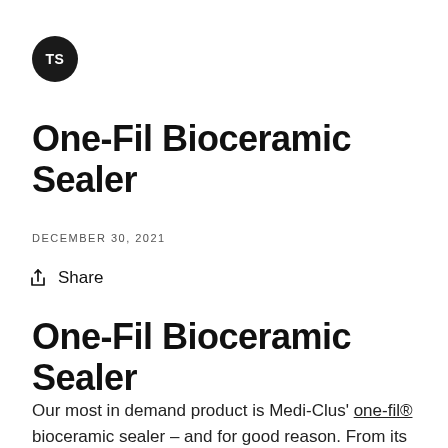[Figure (logo): Dark circular logo with white 'TS' initials]
One-Fil Bioceramic Sealer
DECEMBER 30, 2021
Share
One-Fil Bioceramic Sealer
Our most in demand product is Medi-Clus' one-fil® bioceramic sealer – and for good reason. From its incredible flowability to its excellent sealing ability it's